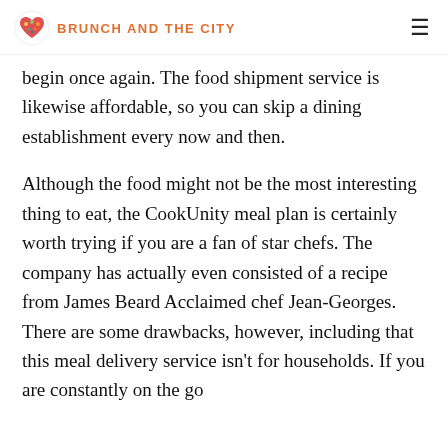BRUNCH AND THE CITY
begin once again. The food shipment service is likewise affordable, so you can skip a dining establishment every now and then.
Although the food might not be the most interesting thing to eat, the CookUnity meal plan is certainly worth trying if you are a fan of star chefs. The company has actually even consisted of a recipe from James Beard Acclaimed chef Jean-Georges. There are some drawbacks, however, including that this meal delivery service isn't for households. If you are constantly on the go